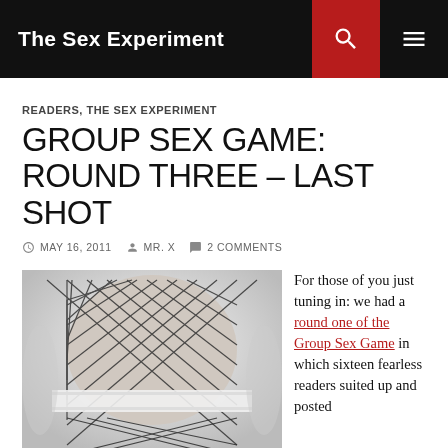The Sex Experiment
READERS, THE SEX EXPERIMENT
GROUP SEX GAME: ROUND THREE – LAST SHOT
MAY 16, 2011  MR. X  2 COMMENTS
[Figure (photo): Black and white photo showing a person in fishnet stockings, close-up torso view with rope or band around waist]
For those of you just tuning in: we had a round one of the Group Sex Game in which sixteen fearless readers suited up and posted